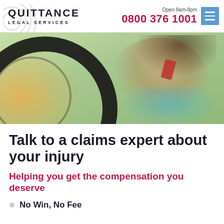[Figure (logo): Quittance Legal Services logo with concentric arc rings graphic on the left and company name text]
Open 8am-9pm
0800 376 1001
[Figure (photo): Woman wearing a helmet talking on a red mobile phone outdoors, with a bicycle wheel visible on the left and green trees in the background]
Talk to a claims expert about your injury
Helping you get the compensation you deserve
No Win, No Fee